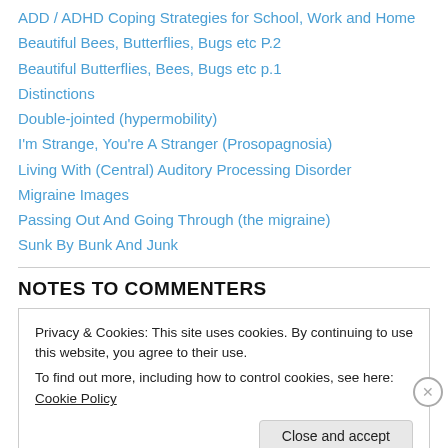ADD / ADHD Coping Strategies for School, Work and Home
Beautiful Bees, Butterflies, Bugs etc P.2
Beautiful Butterflies, Bees, Bugs etc p.1
Distinctions
Double-jointed (hypermobility)
I'm Strange, You're A Stranger (Prosopagnosia)
Living With (Central) Auditory Processing Disorder
Migraine Images
Passing Out And Going Through (the migraine)
Sunk By Bunk And Junk
NOTES TO COMMENTERS
Privacy & Cookies: This site uses cookies. By continuing to use this website, you agree to their use. To find out more, including how to control cookies, see here: Cookie Policy
Close and accept